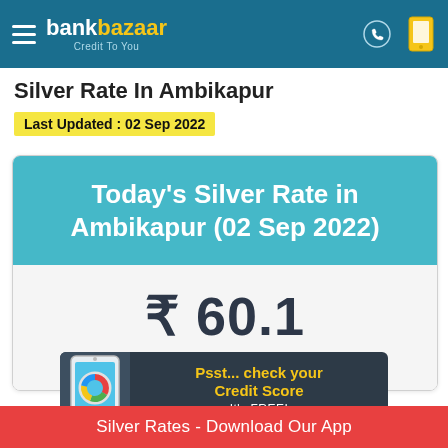bankbazaar Credit To You
Silver Rate In Ambikapur
Last Updated : 02 Sep 2022
Today's Silver Rate in Ambikapur (02 Sep 2022)
₹ 60.1
Today's Silver Rate per gram
[Figure (infographic): Credit score promotional banner with phone illustration showing a donut chart, text reading 'Psst... check your Credit Score It's FREE!']
Silver Rates - Download Our App